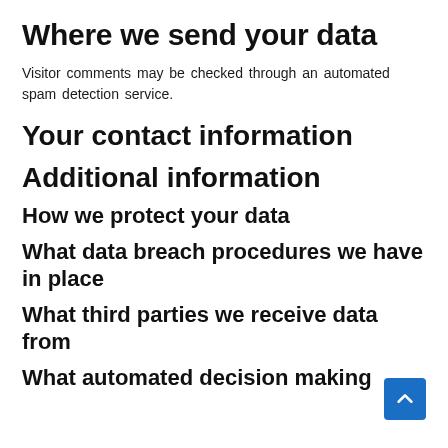Where we send your data
Visitor comments may be checked through an automated spam detection service.
Your contact information
Additional information
How we protect your data
What data breach procedures we have in place
What third parties we receive data from
What automated decision making